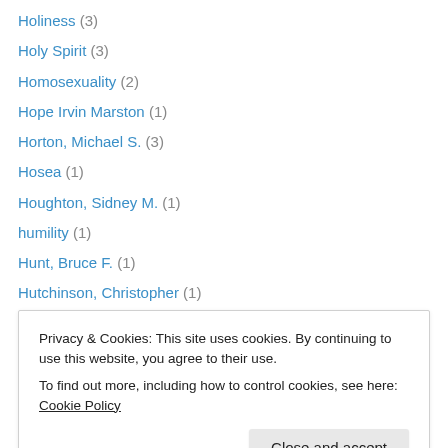Holiness (3)
Holy Spirit (3)
Homosexuality (2)
Hope Irvin Marston (1)
Horton, Michael S. (3)
Hosea (1)
Houghton, Sidney M. (1)
humility (1)
Hunt, Bruce F. (1)
Hutchinson, Christopher (1)
Hyde, Daniel (1)
Iain Murray (2)
Immanence (1)
Privacy & Cookies: This site uses cookies. By continuing to use this website, you agree to their use.
To find out more, including how to control cookies, see here: Cookie Policy
J.I. Packer (2)